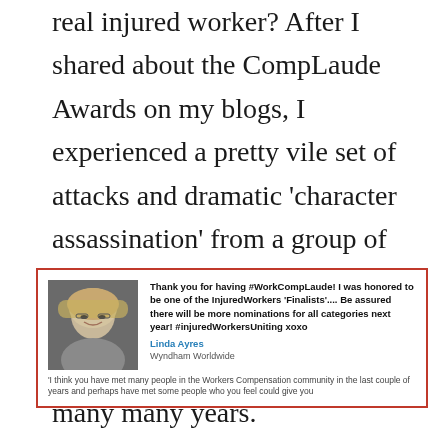real injured worker? After I shared about the CompLaude Awards on my blogs, I experienced a pretty vile set of attacks and dramatic 'character assassination' from a group of alleged long term injured workers who have allegedly been fighting 'the system' for many many years.
[Figure (screenshot): Social media post from Linda Ayres (Wyndham Worldwide) thanking for #WorkCompLaude, mentioning being honored as InjuredWorkers Finalist, and promising more nominations. Includes avatar photo of a blonde woman with glasses.]